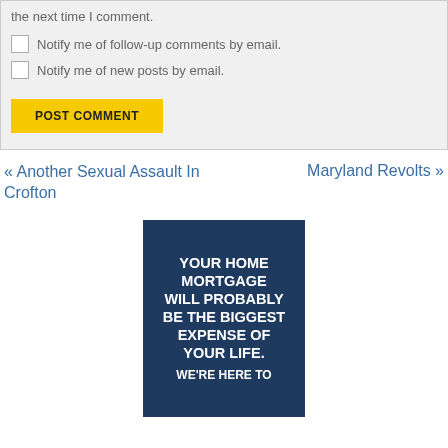the next time I comment.
Notify me of follow-up comments by email.
Notify me of new posts by email.
POST COMMENT
« Another Sexual Assault In Crofton
Maryland Revolts »
[Figure (infographic): Dark blue banner ad with bold white text: YOUR HOME MORTGAGE WILL PROBABLY BE THE BIGGEST EXPENSE OF YOUR LIFE. WE'RE HERE TO...]